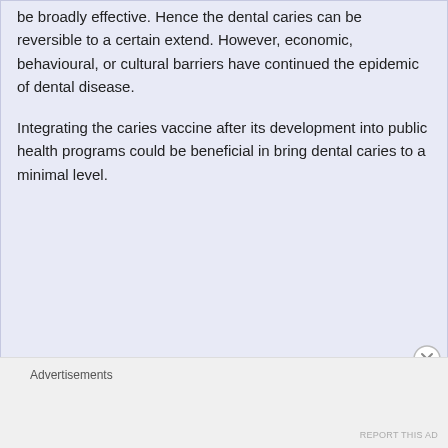be broadly effective. Hence the dental caries can be reversible to a certain extend. However, economic, behavioural, or cultural barriers have continued the epidemic of dental disease.

Integrating the caries vaccine after its development into public health programs could be beneficial in bring dental caries to a minimal level.
Advertisements
REPORT THIS AD